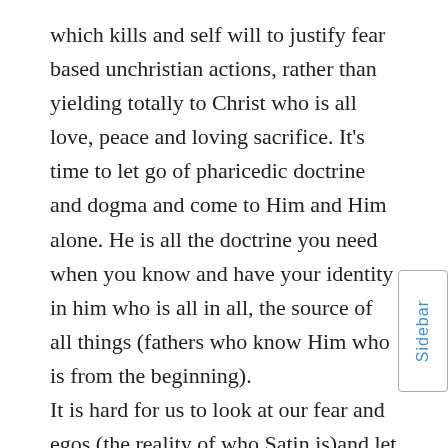which kills and self will to justify fear based unchristian actions, rather than yielding totally to Christ who is all love, peace and loving sacrifice. It's time to let go of pharicedic doctrine and dogma and come to Him and Him alone. He is all the doctrine you need when you know and have your identity in him who is all in all, the source of all things (fathers who know Him who is from the beginning). It is hard for us to look at our fear and egos (the reality of who Satin is)and let go and that includes many of our beliefs about who and what He is. Until we let go of all of this presumption of knowing what God has planned and trust that He is in control and if we follow Him through the leanings of the Holy Spirit, we will be exactly